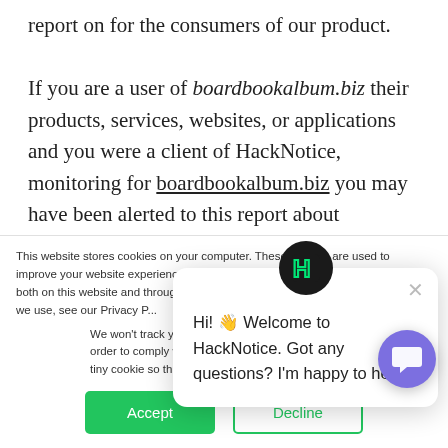report on for the consumers of our product. If you are a user of boardbookalbum.biz their products, services, websites, or applications and you were a client of HackNotice, monitoring for boardbookalbum.biz you may have been alerted to this report about boardbookalbum.biz . HackNotice is a service that provides data, information, and
This website stores cookies on your computer. These cookies are used to improve your website experience and provide more personalized services to you, both on this website and through other media. To find out more about the cookies we use, see our Privacy Policy.
We won't track your information when you visit our site. But in order to comply with your preferences, we'll have to use just one tiny cookie so that you're not asked to make this choice again.
Hi! 👋 Welcome to HackNotice. Got any questions? I'm happy to help.